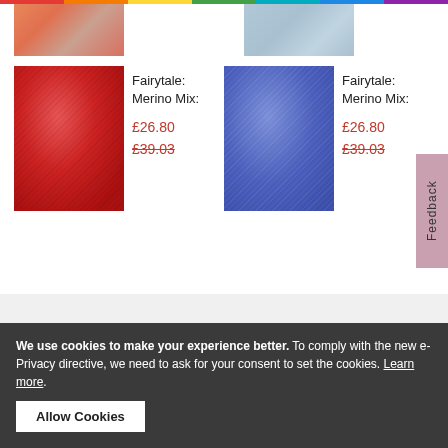[Figure (photo): Partial image of salmon/pink colored yarn at top left]
[Figure (photo): Partial image of light blue colored yarn at top right]
[Figure (photo): Red yarn ball product image]
Fairytale: Merino Mix:
£26.80  £39.03
[Figure (photo): Blue/violet yarn ball product image]
Fairytale: Merino Mix:
£26.80  £39.03
Tools
We use cookies to make your experience better. To comply with the new e-Privacy directive, we need to ask for your consent to set the cookies. Learn more.
Allow Cookies